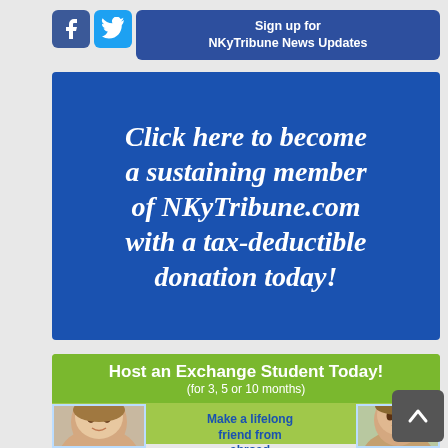[Figure (logo): Facebook and Twitter social media icons]
Sign up for NKyTribune News Updates
[Figure (infographic): Blue banner: Click here to become a sustaining member of NKyTribune.com with a tax-deductible donation today!]
[Figure (infographic): Green banner: Host an Exchange Student Today! (for 3, 5 or 10 months)]
[Figure (photo): Photo of smiling young woman (exchange student)]
Make a lifelong friend from abroad
Enrich your family with another culture. Select
[Figure (photo): Photo of young man (exchange student)]